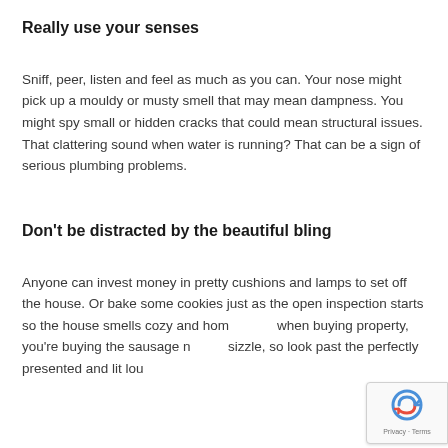Really use your senses
Sniff, peer, listen and feel as much as you can. Your nose might pick up a mouldy or musty smell that may mean dampness. You might spy small or hidden cracks that could mean structural issues. That clattering sound when water is running? That can be a sign of serious plumbing problems.
Don't be distracted by the beautiful bling
Anyone can invest money in pretty cushions and lamps to set off the house. Or bake some cookies just as the open inspection starts so the house smells cozy and homely. But when buying property, you're buying the sausage not the sizzle, so look past the perfectly presented and lit lounge